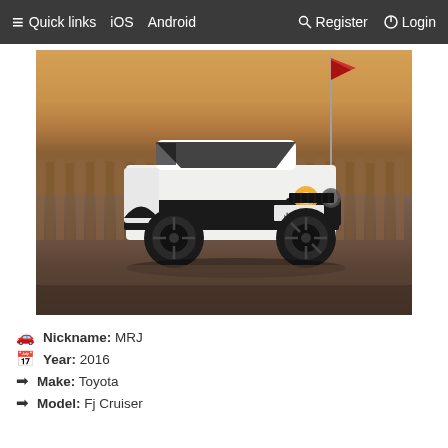≡ Quick links   iOS   Android   🔍 Register   ⏻ Login
[Figure (photo): A white Toyota FJ Cruiser with black off-road wheels parked on sandy/dusty ground at dusk, with a wooden fence in the background and a red flag on a pole. Desert environment, warm orange sunset sky.]
🚗 Nickname: MRJ
📅 Year: 2016
➡ Make: Toyota
➡ Model: Fj Cruiser